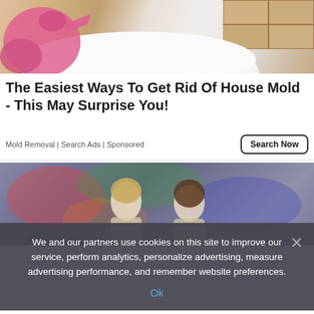[Figure (photo): A pink rubber glove pointing at a white bathtub, with tan/brown ceramic tiles in the background.]
The Easiest Ways To Get Rid Of House Mold - This May Surprise You!
Mold Removal | Search Ads | Sponsored
[Figure (photo): Two illustrated female figures sitting in front of a colorful graffiti mural wall background.]
We and our partners use cookies on this site to improve our service, perform analytics, personalize advertising, measure advertising performance, and remember website preferences.
Ok